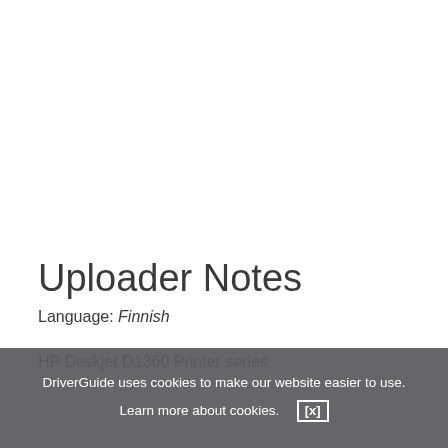Uploader Notes
Language: Finnish
HP Deskjet D1360 Printer series
DriverGuide uses cookies to make our website easier to use. Learn more about cookies. [x]